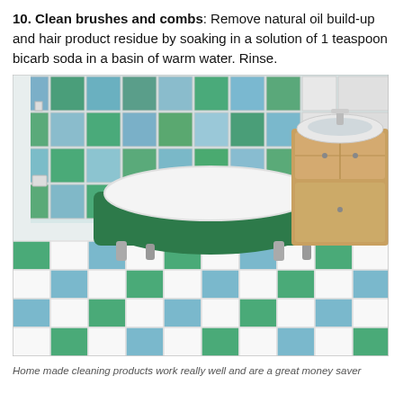10. Clean brushes and combs: Remove natural oil build-up and hair product residue by soaking in a solution of 1 teaspoon bicarb soda in a basin of warm water. Rinse.
[Figure (photo): Photograph of a bathroom with blue and green checkered floor tiles, matching blue and green wall tiles, a white clawfoot bathtub with a dark green exterior, a wooden vanity unit with a white sink, and a white wall. The room has a classic, clean aesthetic.]
Home made cleaning products work really well and are a great money saver